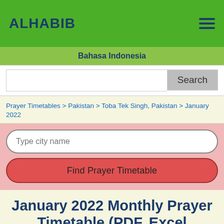ALHABIB
Bahasa Indonesia
Search
Prayer Timetables > Pakistan > Toba Tek Singh, Pakistan > January 2022
Type city name
Find Prayer Timetable
January 2022 Monthly Prayer Timetable (PDF, Excel versions): Toba Tek Singh, Pakistan, Pakistan